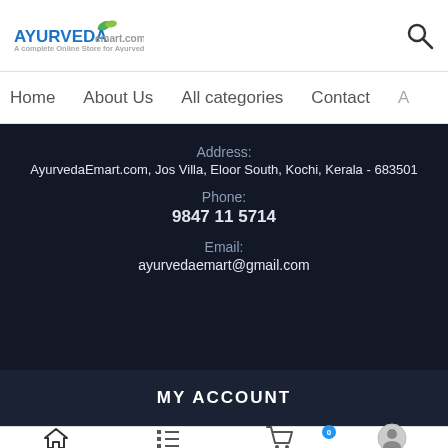[Figure (logo): AyurvedaEmart.com logo with green leaf icon and tagline 'A complete Online Store for Ayurveda']
Home   About Us   All categories   Contact   A...
Address:
AyurvedaEmart.com, Jos Villa, Eloor South, Kochi, Kerala - 683501
Phone:
9847 11 5714
Email:
ayurvedaemart@gmail.com
MY ACCOUNT
[Figure (infographic): Bottom navigation bar with home icon, list icon, cart icon with badge '0', and user profile icon]